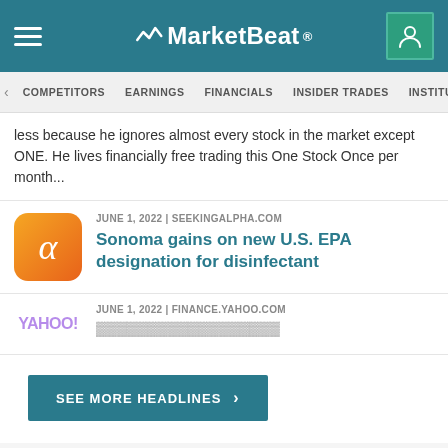MarketBeat
COMPETITORS | EARNINGS | FINANCIALS | INSIDER TRADES | INSTITUTIONAL
less because he ignores almost every stock in the market except ONE. He lives financially free trading this One Stock Once per month...
JUNE 1, 2022 | SEEKINGALPHA.COM
Sonoma gains on new U.S. EPA designation for disinfectant
JUNE 1, 2022 | FINANCE.YAHOO.COM
SEE MORE HEADLINES
Closing price on 09/03/22: $2.81